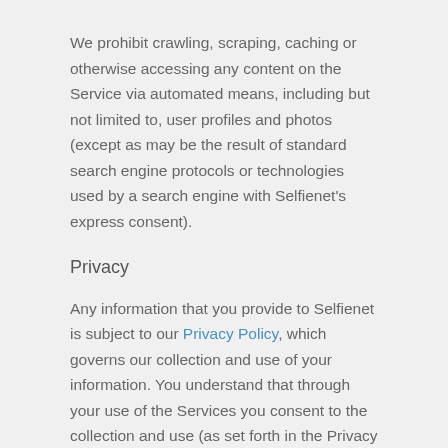We prohibit crawling, scraping, caching or otherwise accessing any content on the Service via automated means, including but not limited to, user profiles and photos (except as may be the result of standard search engine protocols or technologies used by a search engine with Selfienet's express consent).
Privacy
Any information that you provide to Selfienet is subject to our Privacy Policy, which governs our collection and use of your information. You understand that through your use of the Services you consent to the collection and use (as set forth in the Privacy Policy) of this information, including the transfer of this information to wherever Selfienet does business, including countries outside your own for storage, processing and use by Selfienet. As part of providing you the Services,